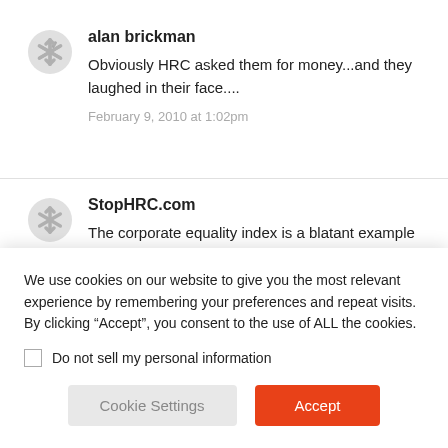alan brickman
Obviously HRC asked them for money...and they laughed in their face....
February 9, 2010 at 1:02pm
StopHRC.com
The corporate equality index is a blatant example of single issue gay rights activism that ultimately harms many members of our own community. These
We use cookies on our website to give you the most relevant experience by remembering your preferences and repeat visits. By clicking “Accept”, you consent to the use of ALL the cookies.
Do not sell my personal information
Cookie Settings
Accept